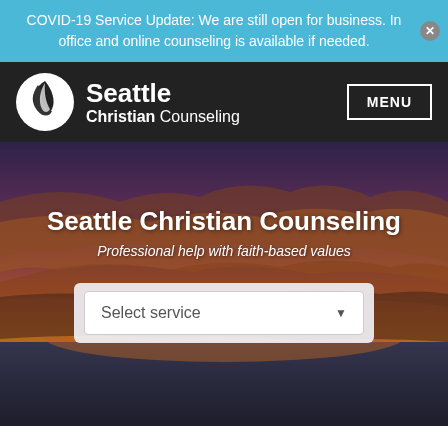COVID-19 Service Update: We are still open for business. In office and online counseling is available if needed.
[Figure (logo): Seattle Christian Counseling logo: white leaf/flame icon in circle on dark background, with text 'Seattle Christian Counseling']
[Figure (photo): Hero background: sunset over water with dramatic orange and purple clouds]
Seattle Christian Counseling
Professional help with faith-based values
Select service